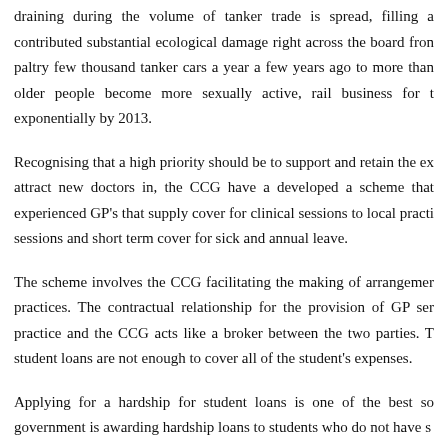draining during the volume of tanker trade is spread, filling a contributed substantial ecological damage right across the board from paltry few thousand tanker cars a year a few years ago to more than older people become more sexually active, rail business for tr exponentially by 2013.
Recognising that a high priority should be to support and retain the ex attract new doctors in, the CCG have a developed a scheme that experienced GP's that supply cover for clinical sessions to local practi sessions and short term cover for sick and annual leave.
The scheme involves the CCG facilitating the making of arrangemer practices. The contractual relationship for the provision of GP ser practice and the CCG acts like a broker between the two parties. T student loans are not enough to cover all of the student's expenses.
Applying for a hardship for student loans is one of the best so government is awarding hardship loans to students who do not have s